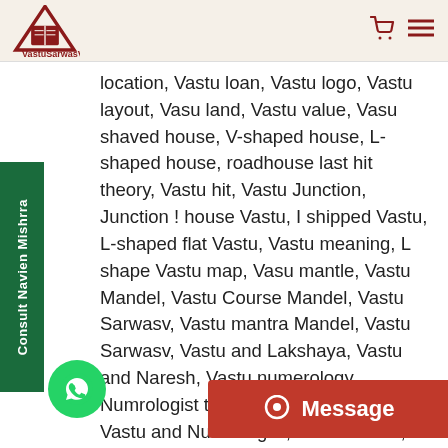[Figure (logo): VastuSarwasV logo with triangle and book icon, red and dark red colors]
location, Vastu loan, Vastu logo, Vastu layout, Vasu land, Vastu value, Vasu shaved house, V-shaped house, L-shaped house, roadhouse last hit theory, Vastu hit, Vastu Junction, Junction ! house Vastu, I shipped Vastu, L-shaped flat Vastu, Vastu meaning, L shape Vastu map, Vasu mantle, Vastu Mandel, Vastu Course Mandel, Vastu Sarwasv, Vastu mantra Mandel, Vastu Sarwasv, Vastu and Lakshaya, Vastu and Naresh, Vastu numerology, Numrologist to Vastu, Numrologist, Vastu and Numrologist, Online Vastu, Vastu Course, Vastu and line course, Vastu Guruji, Vasu amid, Vastu Client, Vastu plan, Vastu urse in Hindi, Vastu puja, Vastu Course, Vastu question, Vastu...